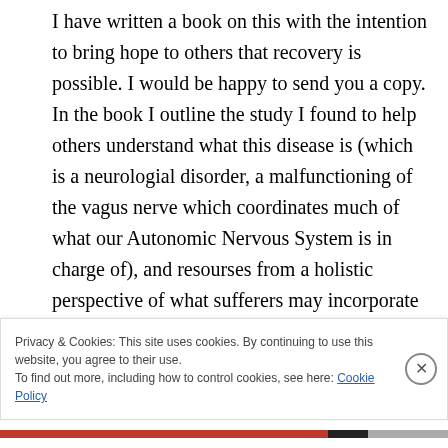I have written a book on this with the intention to bring hope to others that recovery is possible. I would be happy to send you a copy. In the book I outline the study I found to help others understand what this disease is (which is a neurologial disorder, a malfunctioning of the vagus nerve which coordinates much of what our Autonomic Nervous System is in charge of), and resourses from a holistic perspective of what sufferers may incorporate in to their lives on their journey of recovery.
Privacy & Cookies: This site uses cookies. By continuing to use this website, you agree to their use. To find out more, including how to control cookies, see here: Cookie Policy
Close and accept